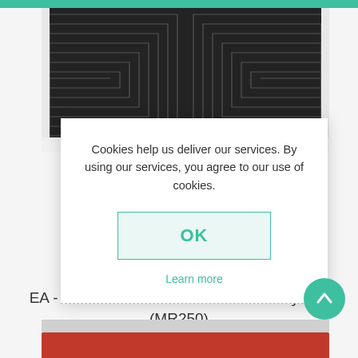[Figure (photo): Dark colored mat with concentric square coil heating pattern, viewed from above]
Cookies help us deliver our services. By using our services, you agree to our use of cookies.
OK
Learn more
EA - MR-250 - 10" x 10" Red Lab Safety Mat (MR250)
[Figure (photo): Bottom portion of red lab safety mat product image]